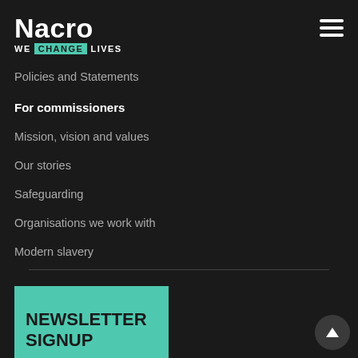Nacro — WE CHANGE LIVES
Policies and Statements
For commissioners
Mission, vision and values
Our stories
Safeguarding
Organisations we work with
Modern slavery
Charity number: 226171
NEWSLETTER SIGNUP